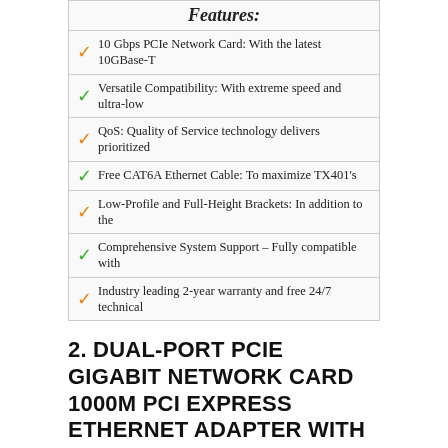Features:
10 Gbps PCIe Network Card: With the latest 10GBase-T
Versatile Compatibility: With extreme speed and ultra-low
QoS: Quality of Service technology delivers prioritized
Free CAT6A Ethernet Cable: To maximize TX401's
Low-Profile and Full-Height Brackets: In addition to the
Comprehensive System Support – Fully compatible with
Industry leading 2-year warranty and free 24/7 technical
2. DUAL-PORT PCIE GIGABIT NETWORK CARD 1000M PCI EXPRESS ETHERNET ADAPTER WITH INTEL 82576 TWO PORTS LAN NIC CARD FOR SUPPORT PXE FOR WINDOWS/WINDOWS SERVER/LINUX/FREEBSD /DOS WITH LOW PROFILE